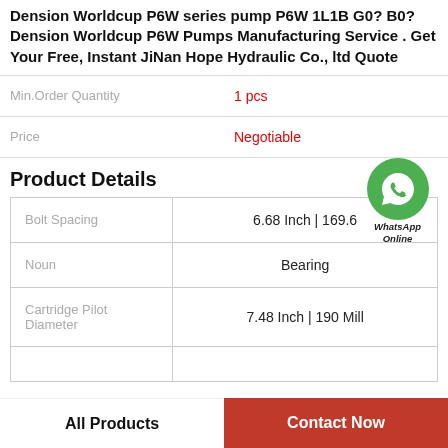Dension Worldcup P6W series pump P6W 1L1B G0? B0? Dension Worldcup P6W Pumps Manufacturing Service . Get Your Free, Instant JiNan Hope Hydraulic Co., ltd Quote
| Min.Order Quantity | 1 pcs |
| --- | --- |
| Price | Negotiable |
| --- | --- |
Product Details
| Attribute | Value |
| --- | --- |
| Bolt Spacing | 6.68 Inch | 169.6... |
| Noun | Bearing |
| Cartridge Pilot Diameter | 7.48 Inch | 190 Mill |
|  |  |
All Products
Contact Now